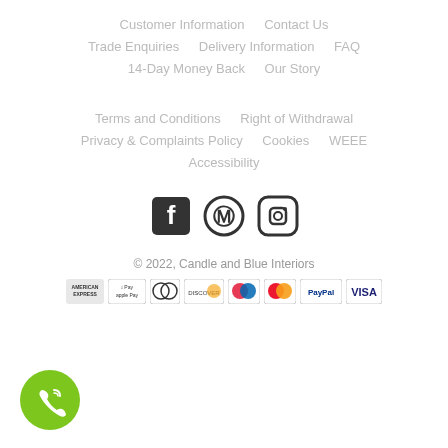Customer Information   Contact Us
Trade Enquiries   Delivery Information   FAQ
14-Day Money Back   Our Story
Terms and Conditions   Right of Withdrawal
Privacy & Complaints Policy   Cookies   WEEE
Accessibility
[Figure (illustration): Social media icons: Facebook, Pinterest, Instagram]
© 2022, Candle and Blue Interiors
[Figure (illustration): Payment method logos: American Express, Apple Pay, Diners Club, Discover, Maestro, Mastercard, PayPal, VISA]
[Figure (illustration): Green phone call button icon in bottom left corner]